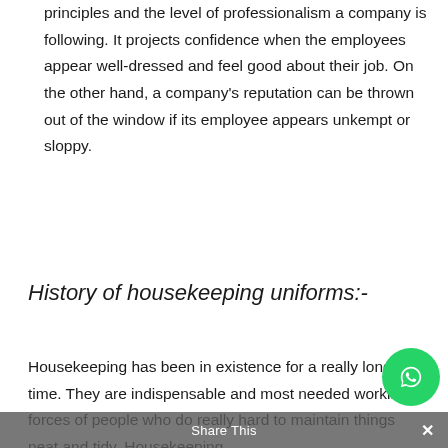principles and the level of professionalism a company is following. It projects confidence when the employees appear well-dressed and feel good about their job. On the other hand, a company's reputation can be thrown out of the window if its employee appears unkempt or sloppy.
History of housekeeping uniforms:-
Housekeeping has been in existence for a really long time. They are indispensable and most needed working forces of people who do really hard to maintain things neat and tidy. Housekeeping
Share This